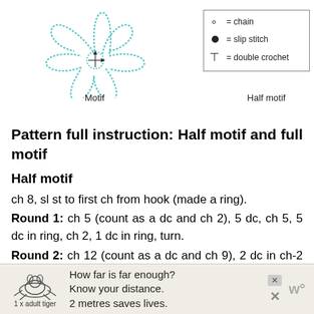[Figure (illustration): Two crochet motif diagrams: a full flower motif (left) and a half motif (right), shown in light blue thread-like lines]
Motif
Half motif
[Figure (infographic): Legend box with symbols: open oval = chain, filled circle = slip stitch, T symbol = double crochet]
Pattern full instruction: Half motif and full motif
Half motif
ch 8, sl st to first ch from hook (made a ring).
Round 1: ch 5 (count as a dc and ch 2), 5 dc, ch 5, 5 dc in ring, ch 2, 1 dc in ring, turn.
Round 2: ch 12 (count as a dc and ch 9), 2 dc in ch-2 space, ch 6, 2 dc in same ch-2 space, (2 dc, ch 6, 2 dc, ch 9, 2 dc, ch 6, 2 dc) in next ch-5 space, (2 dc, ch 6, 2 dc, ch 9, 1 dc) in last ch
[Figure (infographic): Advertisement banner: tiger graphic with '1 x adult tiger', text 'How far is far enough? Know your distance. 2 metres saves lives.']